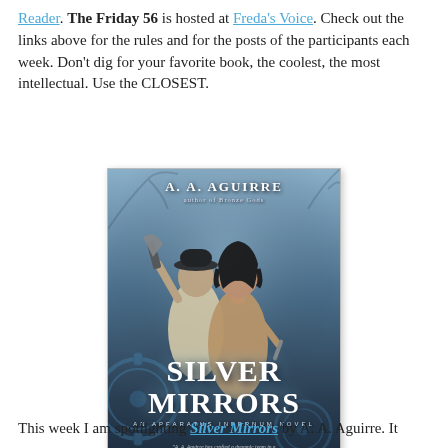Reader. The Friday 56 is hosted at Freda's Voice. Check out the links above for the rules and for the posts of the participants each week. Don't dig for your favorite book, the coolest, the most intellectual. Use the CLOSEST.
[Figure (photo): Book cover of 'Silver Mirrors' by A. A. Aguirre, an Apparatus Infernum Novel. Shows two figures (a man in a bowler hat holding an axe, and a woman with dark bob hair) against a dark blue steampunk-fantasy background with gears.]
This week I am spotlighting Silver Mirrors by A. A. Aguirre. It